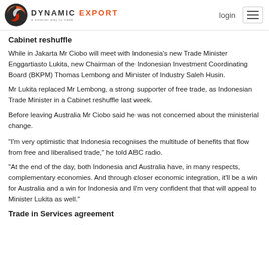DYNAMIC EXPORT — login
Cabinet reshuffle
While in Jakarta Mr Ciobo will meet with Indonesia's new Trade Minister Enggartiasto Lukita, new Chairman of the Indonesian Investment Coordinating Board (BKPM) Thomas Lembong and Minister of Industry Saleh Husin.
Mr Lukita replaced Mr Lembong, a strong supporter of free trade, as Indonesian Trade Minister in a Cabinet reshuffle last week.
Before leaving Australia Mr Ciobo said he was not concerned about the ministerial change.
“I’m very optimistic that Indonesia recognises the multitude of benefits that flow from free and liberalised trade,” he told ABC radio.
“At the end of the day, both Indonesia and Australia have, in many respects, complementary economies. And through closer economic integration, it’ll be a win for Australia and a win for Indonesia and I’m very confident that that will appeal to Minister Lukita as well.”
Trade in Services agreement